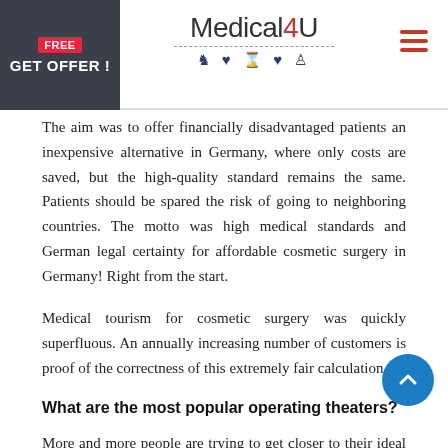FREE | GET OFFER! | Medical4U
The aim was to offer financially disadvantaged patients an inexpensive alternative in Germany, where only costs are saved, but the high-quality standard remains the same. Patients should be spared the risk of going to neighboring countries. The motto was high medical standards and German legal certainty for affordable cosmetic surgery in Germany! Right from the start.
Medical tourism for cosmetic surgery was quickly superfluous. An annually increasing number of customers is proof of the correctness of this extremely fair calculation.
What are the most popular operating theaters?
More and more people are trying to get closer to their ideal body through cosmetic surgery and to remove the first traces of aging. Today one's own body has become the most important